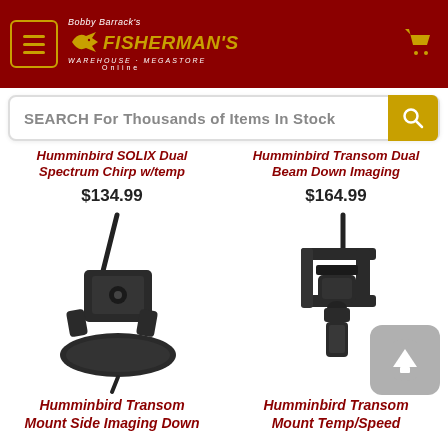[Figure (logo): Bobby Barrack's Fisherman's Warehouse Megastore Online logo with hamburger menu and shopping cart icon on dark red header bar]
SEARCH For Thousands of Items In Stock
Humminbird SOLIX Dual Spectrum Chirp w/temp In-Hull Transducer $134.99
Humminbird Transom Dual Beam Down Imaging Transducer $164.99
[Figure (photo): Humminbird Transom Mount Side Imaging Down transducer product photo]
[Figure (photo): Humminbird Transom Mount Temp/Speed transducer product photo]
Humminbird Transom Mount Side Imaging Down
Humminbird Transom Mount Temp/Speed